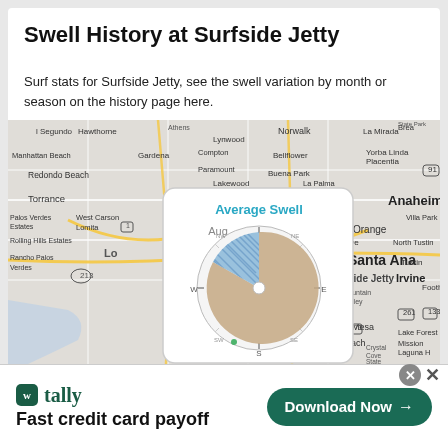Swell History at Surfside Jetty
Surf stats for Surfside Jetty, see the swell variation by month or season on the history page here.
[Figure (map): Map of Southern California coastal region centered near Surfside Jetty / Santa Ana area, showing cities including Hawthorne, Torrance, Redondo Beach, Carson, Compton, Lynwood, Norwalk, Bellflower, Buena Park, La Mirada, Fullerton, Anaheim, Santa Ana, Garden Grove, Westminster, Irvine, Newport Beach, Costa Mesa, and others. An 'Average Swell' popup overlay shows a compass-rose style pie/donut chart with blue and tan sections labeled Aug, W, E, S indicating swell direction distribution.]
tally Fast credit card payoff   Download Now →